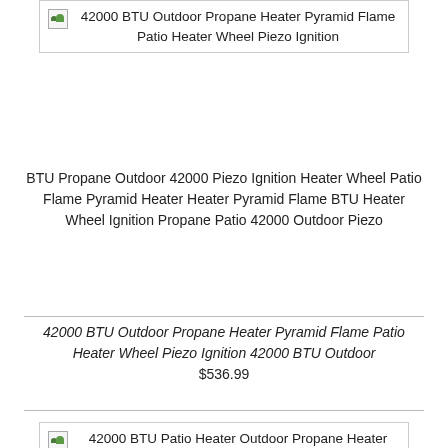[Figure (other): Broken image placeholder for 42000 BTU Outdoor Propane Heater Pyramid Flame Patio Heater Wheel Piezo Ignition]
BTU Propane Outdoor 42000 Piezo Ignition Heater Wheel Patio Flame Pyramid Heater Heater Pyramid Flame BTU Heater Wheel Ignition Propane Patio 42000 Outdoor Piezo
42000 BTU Outdoor Propane Heater Pyramid Flame Patio Heater Wheel Piezo Ignition 42000 BTU Outdoor $536.99
[Figure (other): Broken image placeholder for 42000 BTU Patio Heater Outdoor Propane Heater Pyramid Flame With Wheels Black]